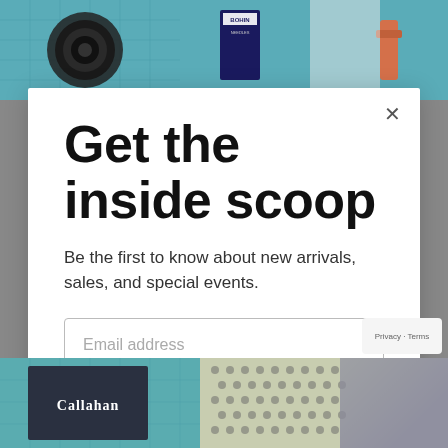[Figure (photo): Top photo strip showing sewing/crafting items including a camera lens, teal fabric, a Bohin needle package, and an orange strap]
Get the inside scoop
Be the first to know about new arrivals, sales, and special events.
[Figure (screenshot): Email address input field with placeholder text 'Email address']
SUBSCRIBE
[Figure (photo): Bottom photo strip showing quilted teal fabric, patterned fabric swatches, and a dark card reading 'Callahan']